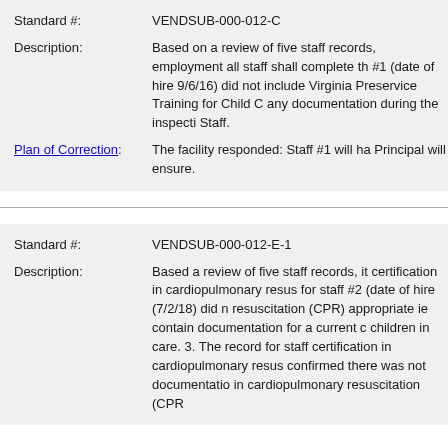Standard #: VENDSUB-000-012-C
Description: Based on a review of five staff records, employment all staff shall complete th #1 (date of hire 9/6/16) did not include Virginia Preservice Training for Child C any documentation during the inspecti Staff.
Plan of Correction: The facility responded: Staff #1 will ha Principal will ensure.
Standard #: VENDSUB-000-012-E-1
Description: Based a review of five staff records, it certification in cardiopulmonary resuscitation for staff #2 (date of hire (7/2/18) did not resuscitation (CPR) appropriate ie contain documentation for a current certification children in care. 3. The record for staff certification in cardiopulmonary resuscitation confirmed there was not documentation in cardiopulmonary resuscitation (CPR